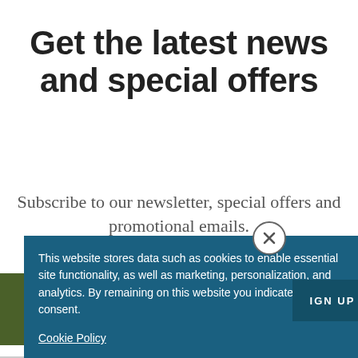Get the latest news and special offers
Subscribe to our newsletter, special offers and promotional emails.
This website stores data such as cookies to enable essential site functionality, as well as marketing, personalization, and analytics. By remaining on this website you indicate your consent.
Cookie Policy
IGN UP